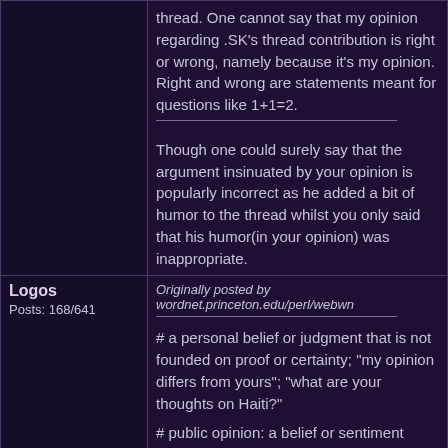thread. One cannot say that my opinion regarding .SK's thread contribution is right or wrong, namely because it's my opinion. Right and wrong are statements meant for questions like 1+1=2.
Though one could surely say that the argument insinuated by your opinion is popularly incorrect as he added a bit of humor to the thread whilst you only said that his humor(in your opinion) was inappropriate.
Logos
Posts: 168/641
Originally posted by wordnet.princeton.edu/perl/webwn
# a personal belief or judgment that is not founded on proof or certainty; "my opinion differs from yours"; "what are your thoughts on Haiti?"
# public opinion: a belief or sentiment shared by most people; the voice of the people; "he asked for a poll of public opinion"
# a message expressing a belief about something; the expression